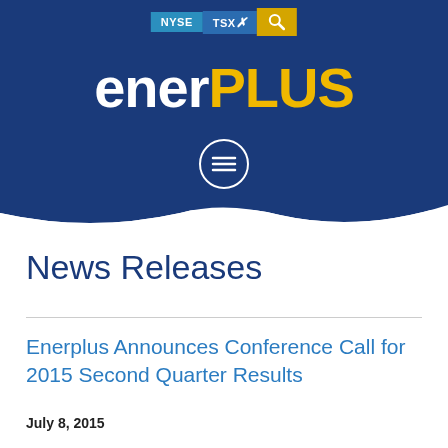[Figure (logo): Enerplus company logo with NYSE and TSX exchange buttons and search icon on dark blue background with wave bottom edge]
News Releases
Enerplus Announces Conference Call for 2015 Second Quarter Results
July 8, 2015